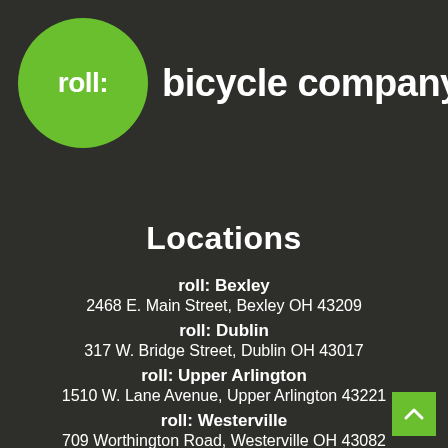[Figure (logo): Roll Bicycle Company logo: green circle with 'roll:' text in white, followed by 'bicycle company' in white bold text on dark background]
Locations
roll: Bexley
2468 E. Main Street, Bexley OH 43209
roll: Dublin
317 W. Bridge Street, Dublin OH 43017
roll: Upper Arlington
1510 W. Lane Avenue, Upper Arlington 43221
roll: Westerville
709 Worthington Road, Westerville OH 43082